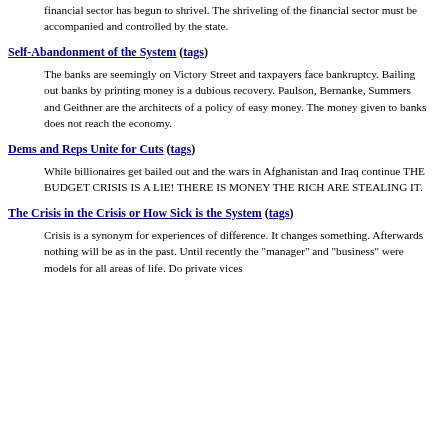financial sector has begun to shrivel. The shriveling of the financial sector must be accompanied and controlled by the state.
Self-Abandonment of the System (tags)
The banks are seemingly on Victory Street and taxpayers face bankruptcy. Bailing out banks by printing money is a dubious recovery. Paulson, Bernanke, Summers and Geithner are the architects of a policy of easy money. The money given to banks does not reach the economy.
Dems and Reps Unite for Cuts (tags)
While billionaires get bailed out and the wars in Afghanistan and Iraq continue THE BUDGET CRISIS IS A LIE! THERE IS MONEY THE RICH ARE STEALING IT.
The Crisis in the Crisis or How Sick is the System (tags)
Crisis is a synonym for experiences of difference. It changes something. Afterwards nothing will be as in the past. Until recently the "manager" and "business" were models for all areas of life. Do private vices